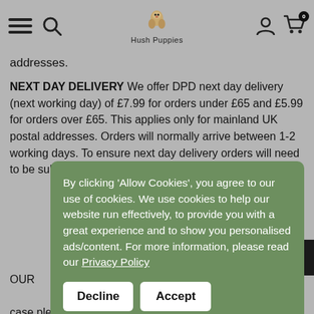Hush Puppies
addresses.
NEXT DAY DELIVERY We offer DPD next day delivery (next working day) of £7.99 for orders under £65 and £5.99 for orders over £65. This applies only for mainland UK postal addresses. Orders will normally arrive between 1-2 working days. To ensure next day delivery orders will need to be submitted before 2pm
OUR... unw... We... that... are... refu... is case please contact us. We comply fully with the EU Distance Selling Act providing : Your order is returned within 14 days of
By clicking 'Allow Cookies', you agree to our use of cookies. We use cookies to help our website run effectively, to provide you with a great experience and to show you personalised ads/content. For more information, please read our Privacy Policy
Decline  Accept